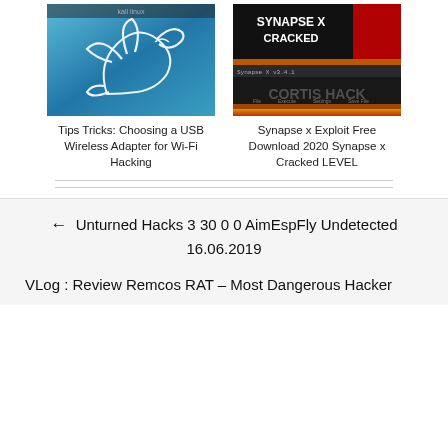[Figure (screenshot): Kali Linux logo - white dragon/bird silhouette on blue gradient background]
Tips Tricks: Choosing a USB Wireless Adapter for Wi-Fi Hacking
[Figure (screenshot): Synapse X Cracked - gaming exploit tool screenshot with fire background and 'CORTIS HACK' text]
Synapse x Exploit Free Download 2020 Synapse x Cracked LEVEL
← Unturned Hacks 3 30 0 0 AimEspFly Undetected 16.06.2019
VLog : Review Remcos RAT – Most Dangerous Hacker